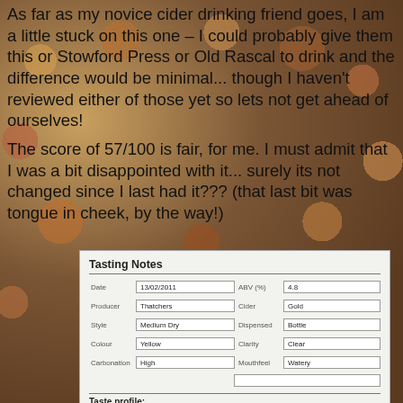As far as my novice cider drinking friend goes, I am a little stuck on this one – I could probably give them this or Stowford Press or Old Rascal to drink and the difference would be minimal... though I haven't reviewed either of those yet so lets not get ahead of ourselves!
The score of 57/100 is fair, for me. I must admit that I was a bit disappointed with it... surely its not changed since I last had it??? (that last bit was tongue in cheek, by the way!)
| Date | 13/02/2011 | ABV (%) | 4.8 |
| Producer | Thatchers | Cider | Gold |
| Style | Medium Dry | Dispensed | Bottle |
| Colour | Yellow | Clarity | Clear |
| Carbonation | High | Mouthfeel | Watery |
Taste profile:
Aroma: Concentrated, heavily fruit. Sweetness = 3.19/10. Sharpness = 3.30/10. Sourness of 5/10